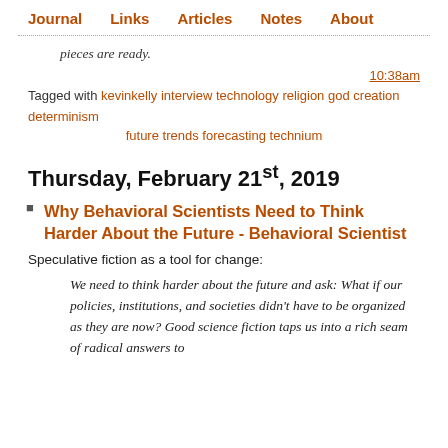Journal  Links  Articles  Notes  About
pieces are ready.
10:38am
Tagged with kevinkelly interview technology religion god creation determinism future trends forecasting technium
Thursday, February 21st, 2019
Why Behavioral Scientists Need to Think Harder About the Future - Behavioral Scientist
Speculative fiction as a tool for change:
We need to think harder about the future and ask: What if our policies, institutions, and societies didn't have to be organized as they are now? Good science fiction taps us into a rich seam of radical answers to